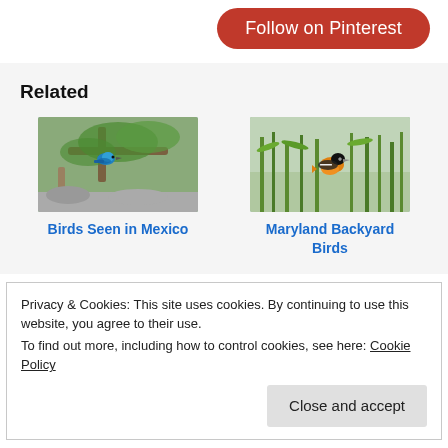[Figure (other): Red 'Follow on Pinterest' button in upper right]
Related
[Figure (photo): Photo of colorful bird (kingfisher type) in tree branches in Mexico]
Birds Seen in Mexico
[Figure (photo): Photo of orange and black bird (Baltimore Oriole) perched among green plants, Maryland backyard]
Maryland Backyard Birds
Privacy & Cookies: This site uses cookies. By continuing to use this website, you agree to their use.
To find out more, including how to control cookies, see here: Cookie Policy
Close and accept
Backyard Birds Eat?